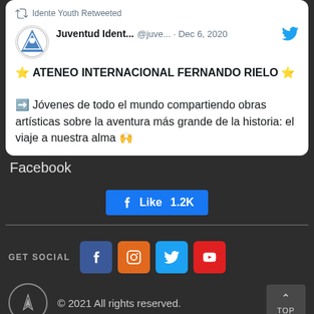Idente Youth Retweeted
Juventud Ident... @juve... · Dec 6, 2020 ⭐ ATENEO INTERNACIONAL FERNANDO RIELO ⭐ ➡ Jóvenes de todo el mundo compartiendo obras artísticas sobre la aventura más grande de la historia: el viaje a nuestra alma 🙌
Facebook
Like 1.2K
GET SOCIAL
© 2021 All rights reserved.
TOP